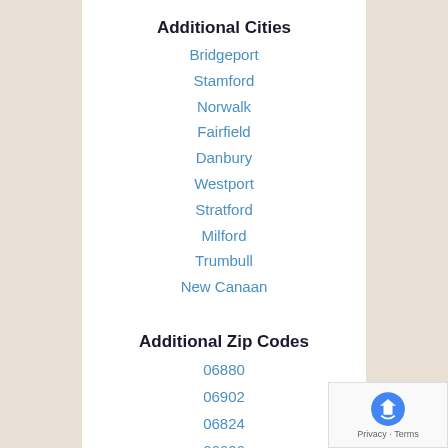Additional Cities
Bridgeport
Stamford
Norwalk
Fairfield
Danbury
Westport
Stratford
Milford
Trumbull
New Canaan
Additional Zip Codes
06880
06902
06824
06606
06611